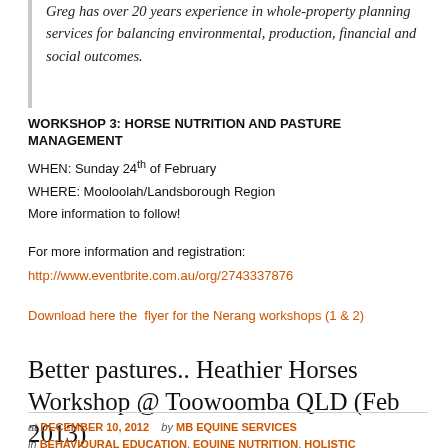Greg has over 20 years experience in whole-property planning services for balancing environmental, production, financial and social outcomes.
WORKSHOP 3: HORSE NUTRITION AND PASTURE MANAGEMENT
WHEN: Sunday 24th of February
WHERE: Mooloolah/Landsborough Region
More information to follow!
For more information and registration:
http://www.eventbrite.com.au/org/2743337876
Download here the flyer for the Nerang workshops (1 & 2)
Better pastures.. Heathier Horses Workshop @ Toowoomba QLD (Feb 2013)
at DECEMBER 10, 2012   by MB EQUINE SERVICES
in BEHAVIOURAL EDUCATION, EQUINE NUTRITION, HOLISTIC